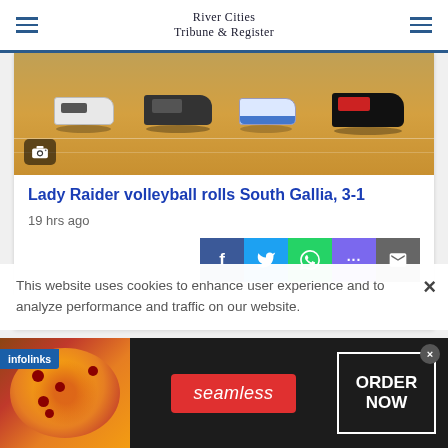River Cities Tribune & Register
[Figure (photo): Close-up photo of athletes' feet and sneakers on a basketball/volleyball court wooden floor]
Lady Raider volleyball rolls South Gallia, 3-1
19 hrs ago
This website uses cookies to enhance user experience and to analyze performance and traffic on our website.
[Figure (infographic): Seamless food delivery advertisement banner with pizza image, Seamless logo, and ORDER NOW button]